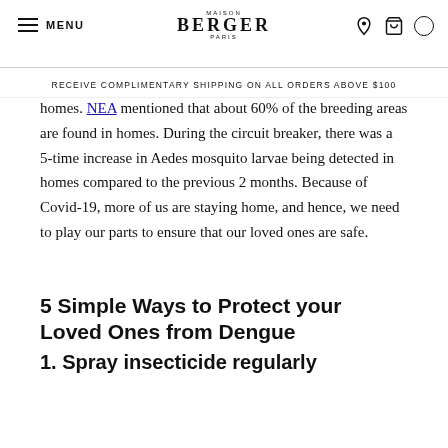MENU | MAISON BERGER PARIS
RECEIVE COMPLIMENTARY SHIPPING ON ALL ORDERS ABOVE $100
homes. NEA mentioned that about 60% of the breeding areas are found in homes. During the circuit breaker, there was a 5-time increase in Aedes mosquito larvae being detected in homes compared to the previous 2 months. Because of Covid-19, more of us are staying home, and hence, we need to play our parts to ensure that our loved ones are safe.
5 Simple Ways to Protect your Loved Ones from Dengue
1. Spray insecticide regularly